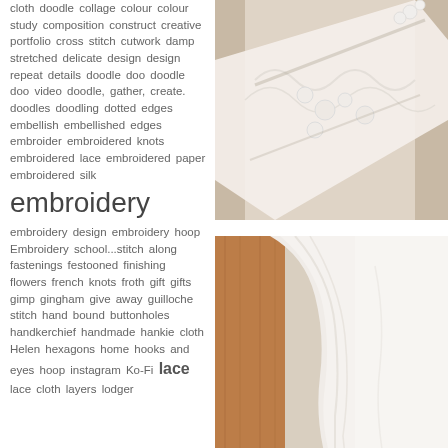cloth doodle collage colour colour study composition construct creative portfolio cross stitch cutwork damp stretched delicate design design repeat details doodle doo doodle doo video doodle, gather, create. doodles doodling dotted edges embellish embellished edges embroider embroidered knots embroidered lace embroidered paper embroidered silk embroidery embroidery design embroidery hoop Embroidery school...stitch along fastenings festooned finishing flowers french knots froth gift gifts gimp gingham give away guilloche stitch hand bound buttonholes handkerchief handmade hankie cloth Helen hexagons home hooks and eyes hoop instagram Ko-Fi lace lace cloth layers lodger
[Figure (photo): Close-up photo of white embroidered fabric with delicate floral lace embroidery and pearl beads on a light beige background]
[Figure (photo): Close-up photo of white fabric with soft folds and a wooden surface visible in the background]